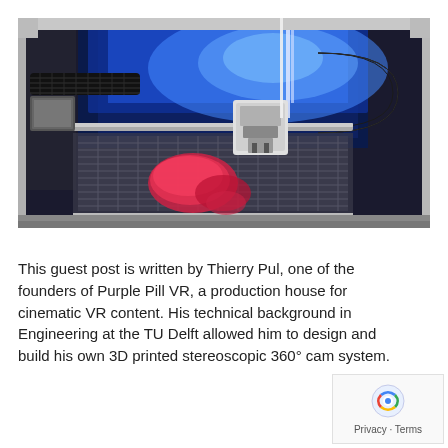[Figure (photo): Top-down view of a 3D printer interior with blue LED lighting, showing the print bed with a pink/red printed object, cable chains, linear rails, and a print head assembly.]
This guest post is written by Thierry Pul, one of the founders of Purple Pill VR, a production house for cinematic VR content. His technical background in Engineering at the TU Delft allowed him to design and build his own 3D printed stereoscopic 360° cam system.